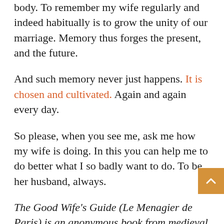body. To remember my wife regularly and indeed habitually is to grow the unity of our marriage. Memory thus forges the present, and the future.
And such memory never just happens. It is chosen and cultivated. Again and again every day.
So please, when you see me, ask me how my wife is doing. In this you can help me to do better what I so badly want to do. To be her husband, always.
The Good Wife's Guide (Le Menagier de Paris) is an anonymous book from medieval France (1393) offering advice to a young wife. It is an important historical text, and it raises